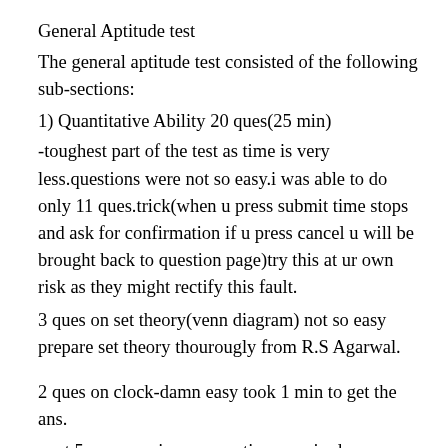General Aptitude test
The general aptitude test consisted of the following sub-sections:
1) Quantitative Ability 20 ques(25 min)
-toughest part of the test as time is very less.questions were not so easy.i was able to do only 11 ques.trick(when u press submit time stops and ask for confirmation if u press cancel u will be brought back to question page)try this at ur own risk as they might rectify this fault.
3 ques on set theory(venn diagram) not so easy prepare set theory thourougly from R.S Agarwal.
2 ques on clock-damn easy took 1 min to get the ans.
next 5 ques on aim easy no time required